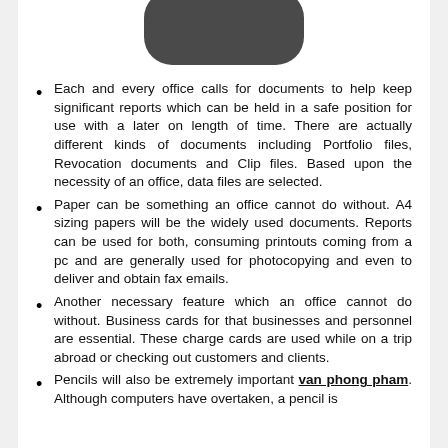[Figure (photo): Partial view of a dark gray rounded rectangular object (likely an office item or electronic device) against white background, cropped at top.]
Each and every office calls for documents to help keep significant reports which can be held in a safe position for use with a later on length of time. There are actually different kinds of documents including Portfolio files, Revocation documents and Clip files. Based upon the necessity of an office, data files are selected.
Paper can be something an office cannot do without. A4 sizing papers will be the widely used documents. Reports can be used for both, consuming printouts coming from a pc and are generally used for photocopying and even to deliver and obtain fax emails.
Another necessary feature which an office cannot do without. Business cards for that businesses and personnel are essential. These charge cards are used while on a trip abroad or checking out customers and clients.
Pencils will also be extremely important van phong pham. Although computers have overtaken, a pencil is